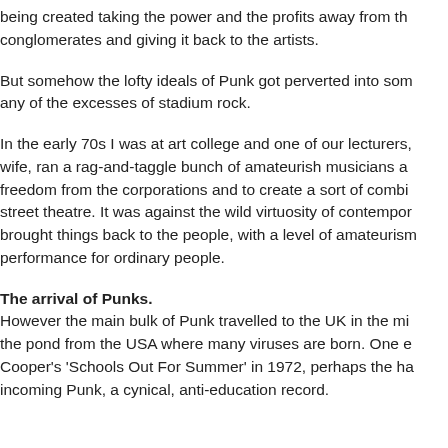being created taking the power and the profits away from the conglomerates and giving it back to the artists.
But somehow the lofty ideals of Punk got perverted into som any of the excesses of stadium rock.
In the early 70s I was at art college and one of our lecturers, wife, ran a rag-and-taggle bunch of amateurish musicians a freedom from the corporations and to create a sort of combi street theatre. It was against the wild virtuosity of contempor brought things back to the people, with a level of amateurism performance for ordinary people.
The arrival of Punks.
However the main bulk of Punk travelled to the UK in the mi the pond from the USA where many viruses are born. One e Cooper's 'Schools Out For Summer' in 1972, perhaps the ha incoming Punk, a cynical, anti-education record.